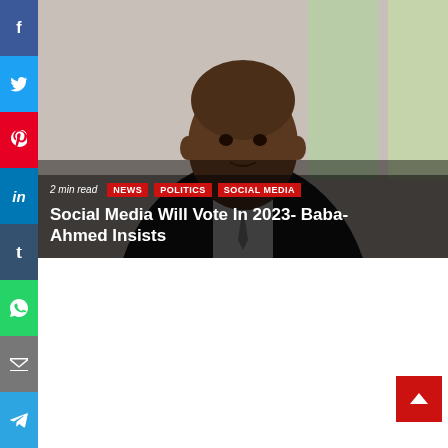[Figure (photo): Portrait photo of Baba-Ahmed, a man in a dark suit, with overlaid text showing article title and tags]
Social Media Will Vote In 2023- Baba-Ahmed Insists
2 min read
NEWS  POLITICS  SOCIAL MEDIA